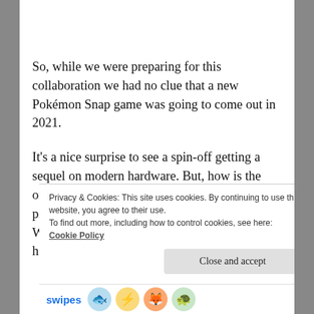So, while we were preparing for this collaboration we had no clue that a new Pokémon Snap game was going to come out in 2021.
It’s a nice surprise to see a spin-off getting a sequel on modern hardware. But, how is the original? Is it any fun or should we skip taking pictures of Pokémon in the Nintendo 64 game? Well, Solarayo is going to tell us all about it in her article on this game.
Privacy & Cookies: This site uses cookies. By continuing to use this website, you agree to their use.
To find out more, including how to control cookies, see here: Cookie Policy
Close and accept
swipes